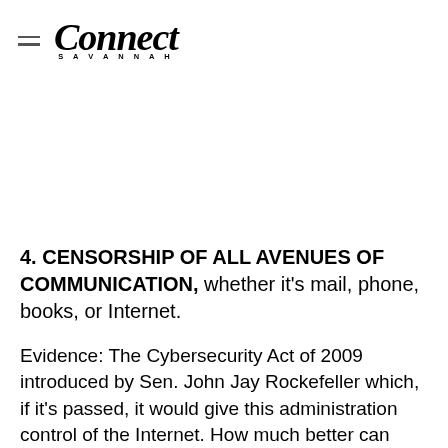Connect Savannah
4. CENSORSHIP OF ALL AVENUES OF COMMUNICATION, whether it's mail, phone, books, or Internet.
Evidence: The Cybersecurity Act of 2009 introduced by Sen. John Jay Rockefeller which, if it's passed, it would give this administration control of the Internet. How much better can